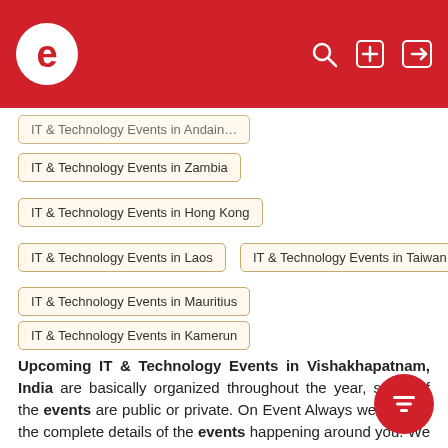e [logo] [search] [add] [login]
IT & Technology Events in Zambia
IT & Technology Events in Hong Kong
IT & Technology Events in Laos
IT & Technology Events in Taiwan
IT & Technology Events in Mauritius
IT & Technology Events in Kamerun
Upcoming IT & Technology Events in Vishakhapatnam, India are basically organized throughout the year, some of the events are public or private. On Event Always we provide the complete details of the events happening around you. We have complete details of the ongoing events, which will help to have a complete information about the events such as their time, duration, location, category, edition, participant and